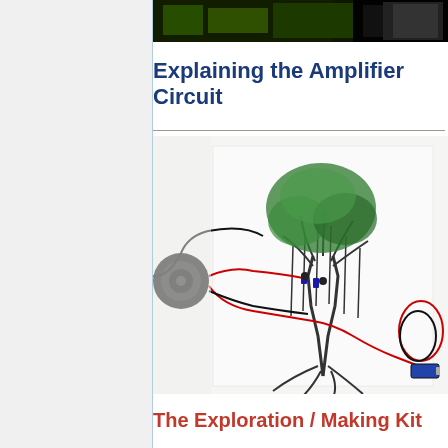[Figure (photo): Partial view of electronic components or circuit board at top of page, dark background with green and black elements]
Explaining the Amplifier Circuit
[Figure (photo): A circuit assembled on a paper with a drawing of a tree. Electronic components including a black speaker/buzzer on the left side, wires in red and black colors, and a battery visible at bottom right. The circuit is laid across a paper with a hand-drawn tree illustration.]
The Exploration / Making Kit